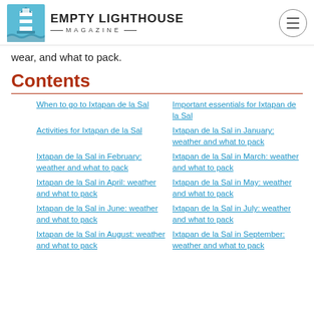Empty Lighthouse Magazine
wear, and what to pack.
Contents
When to go to Ixtapan de la Sal
Important essentials for Ixtapan de la Sal
Activities for Ixtapan de la Sal
Ixtapan de la Sal in January: weather and what to pack
Ixtapan de la Sal in February: weather and what to pack
Ixtapan de la Sal in March: weather and what to pack
Ixtapan de la Sal in April: weather and what to pack
Ixtapan de la Sal in May: weather and what to pack
Ixtapan de la Sal in June: weather and what to pack
Ixtapan de la Sal in July: weather and what to pack
Ixtapan de la Sal in August: weather and what to pack
Ixtapan de la Sal in September: weather and what to pack